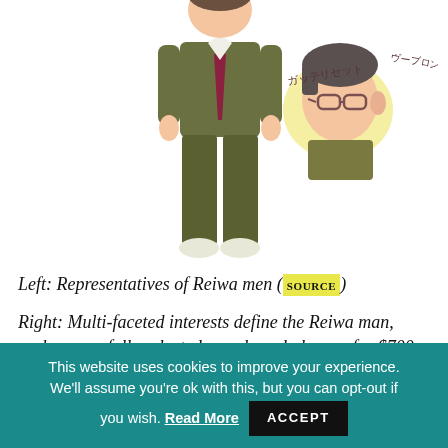[Figure (illustration): Two illustrations: left shows a full-body Reiwa man in olive/khaki suit with white shoes; right shows a side-profile head illustration of a man wearing glasses with Japanese text (ガッテリセット, ヴーブロン) and a yellow highlighted background.]
Left: Representatives of Reiwa men (SOURCE)
Right: Multi-faceted interests define the Reiwa man, such as carefully selected, non-brand glasses, for $700 that only those in the know would recognise
This website uses cookies to improve your experience. We'll assume you're ok with this, but you can opt-out if you wish. Read More  ACCEPT